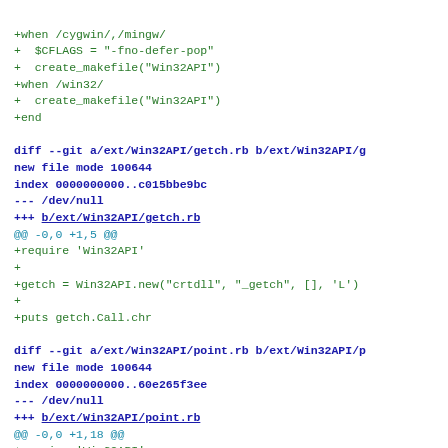Code diff showing git changes for Win32API extension files including getch.rb and point.rb